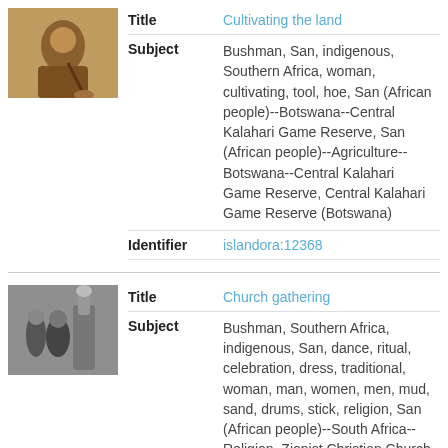[Figure (photo): Thumbnail photo of a person cultivating land with a hoe tool]
| Title | Cultivating the land |
| Subject | Bushman, San, indigenous, Southern Africa, woman, cultivating, tool, hoe, San (African people)--Botswana--Central Kalahari Game Reserve, San (African people)--Agriculture--Botswana--Central Kalahari Game Reserve, Central Kalahari Game Reserve (Botswana) |
| Identifier | islandora:12368 |
[Figure (photo): Black and white thumbnail photo of a church gathering with people]
| Title | Church gathering |
| Subject | Bushman, Southern Africa, indigenous, San, dance, ritual, celebration, dress, traditional, woman, man, women, men, mud, sand, drums, stick, religion, San (African people)--South Africa--Religion, Zionist Christian Church, Independent churches--South Africa |